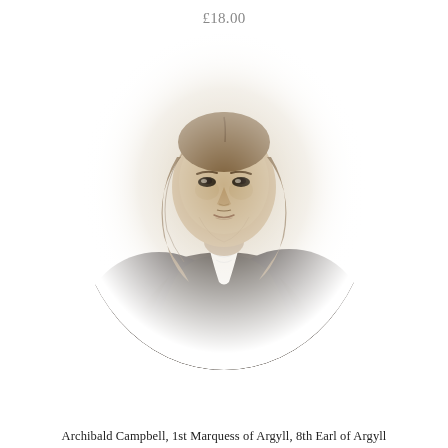£18.00
[Figure (illustration): A sepia-toned engraved portrait of Archibald Campbell, 1st Marquess of Argyll, 8th Earl of Argyll. The subject is shown from the waist up, wearing a dark cloak and white collar, with shoulder-length hair. The portrait is oval/vignette style with a light background fading to white at the edges.]
Archibald Campbell, 1st Marquess of Argyll, 8th Earl of Argyll